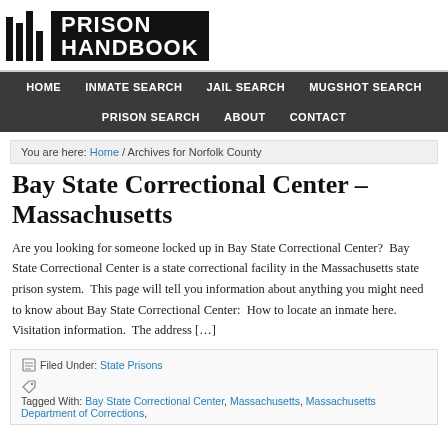[Figure (logo): Prison Handbook logo with black vertical bars and bold white text on black background]
HOME  INMATE SEARCH  JAIL SEARCH  MUGSHOT SEARCH  PRISON SEARCH  ABOUT  CONTACT
You are here: Home / Archives for Norfolk County
Bay State Correctional Center – Massachusetts
Are you looking for someone locked up in Bay State Correctional Center?  Bay State Correctional Center is a state correctional facility in the Massachusetts state prison system.  This page will tell you information about anything you might need to know about Bay State Correctional Center:  How to locate an inmate here.  Visitation information.  The address […]
Filed Under: State Prisons  Tagged With: Bay State Correctional Center, Massachusetts, Massachusetts Department of Corrections,